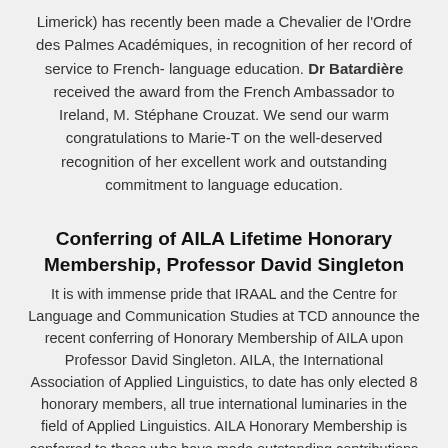Limerick) has recently been made a Chevalier de l'Ordre des Palmes Académiques, in recognition of her record of service to French-language education. Dr Batardière received the award from the French Ambassador to Ireland, M. Stéphane Crouzat. We send our warm congratulations to Marie-T on the well-deserved recognition of her excellent work and outstanding commitment to language education.
Conferring of AILA Lifetime Honorary Membership, Professor David Singleton
It is with immense pride that IRAAL and the Centre for Language and Communication Studies at TCD announce the recent conferring of Honorary Membership of AILA upon Professor David Singleton. AILA, the International Association of Applied Linguistics, to date has only elected 8 honorary members, all true international luminaries in the field of Applied Linguistics. AILA Honorary Membership is conferred to those who have made outstanding contributions to AILA or to the field of Applied Linguistics. David Singleton took his B.A. at Trinity College Dublin, and his Ph.D. at the University of Cambridge. He is an